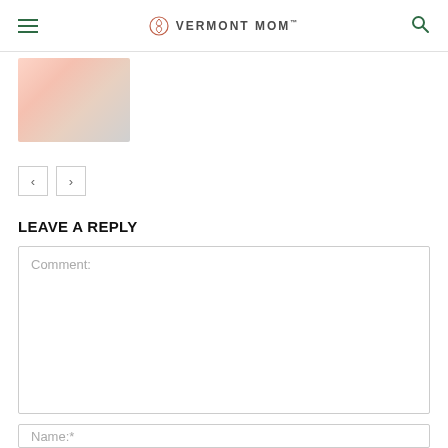VERMONT MOM
[Figure (photo): Photo of a woman feeding an elderly man, both wearing white, on a light background.]
LEAVE A REPLY
Comment:
Name:*